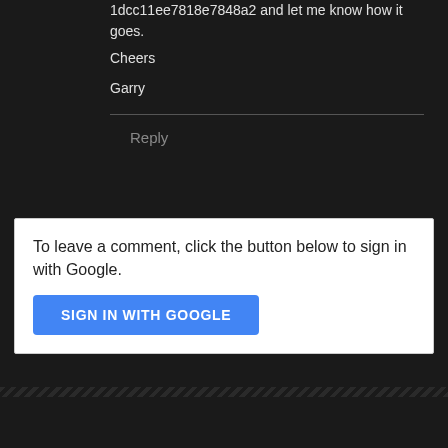1dcc11ee7818e7848a2 and let me know how it goes.
Cheers
Garry
Reply
To leave a comment, click the button below to sign in with Google.
SIGN IN WITH GOOGLE
Home
View web version
Powered by Blogger.